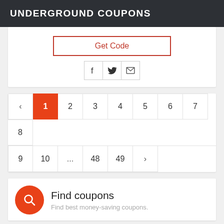UNDERGROUND COUPONS
Get Code
[Figure (other): Social share icons: Facebook, Twitter, Email]
Pagination: ‹ 1 2 3 4 5 6 7 8 9 10 ... 48 49 ›
Find coupons
Find best money-saving coupons.